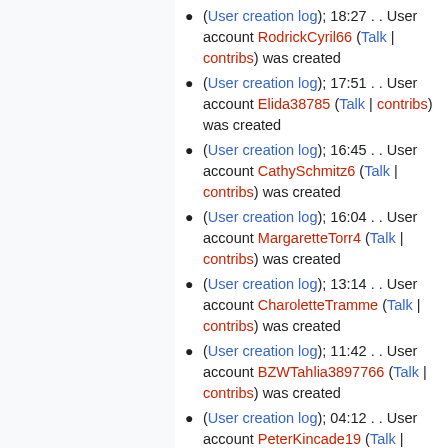(User creation log); 18:27 . . User account RodrickCyril66 (Talk | contribs) was created
(User creation log); 17:51 . . User account Elida38785 (Talk | contribs) was created
(User creation log); 16:45 . . User account CathySchmitz6 (Talk | contribs) was created
(User creation log); 16:04 . . User account MargaretteTorr4 (Talk | contribs) was created
(User creation log); 13:14 . . User account CharoletteTramme (Talk | contribs) was created
(User creation log); 11:42 . . User account BZWTahlia3897766 (Talk | contribs) was created
(User creation log); 04:12 . . User account PeterKincade19 (Talk | contribs) was created